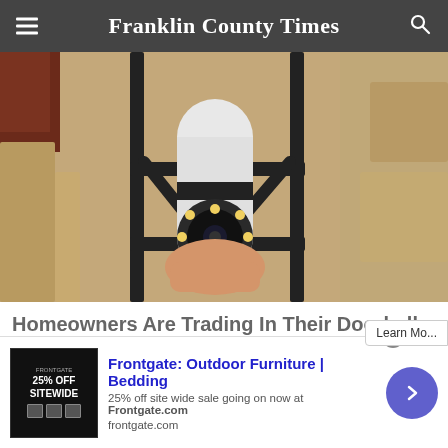Franklin County Times
[Figure (photo): Close-up photo of a white security camera with LED ring lights being installed into a black metal bracket mount on a stone/brick wall exterior]
Homeowners Are Trading In Their Doorbell Cams For This
[Figure (screenshot): Advertisement banner for Frontgate: Outdoor Furniture | Bedding. Shows '25% off site wide sale going on now at Frontgate.com' with frontgate.com URL and a dark background ad image showing '25% OFF SITEWIDE']